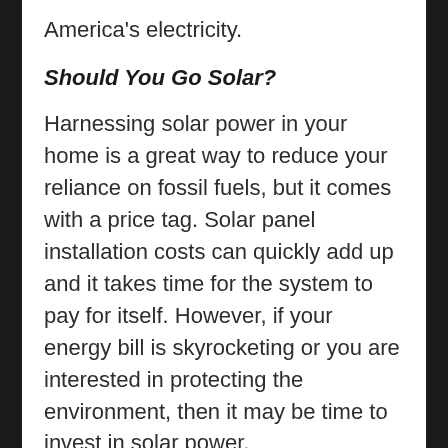America's electricity.
Should You Go Solar?
Harnessing solar power in your home is a great way to reduce your reliance on fossil fuels, but it comes with a price tag. Solar panel installation costs can quickly add up and it takes time for the system to pay for itself. However, if your energy bill is skyrocketing or you are interested in protecting the environment, then it may be time to invest in solar power.
WIND POWER